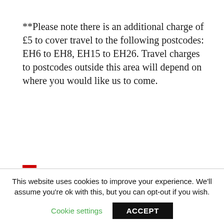**Please note there is an additional charge of £5 to cover travel to the following postcodes: EH6 to EH8, EH15 to EH26. Travel charges to postcodes outside this area will depend on where you would like us to come.
We can also provide the following optional extras:
This website uses cookies to improve your experience. We'll assume you're ok with this, but you can opt-out if you wish.